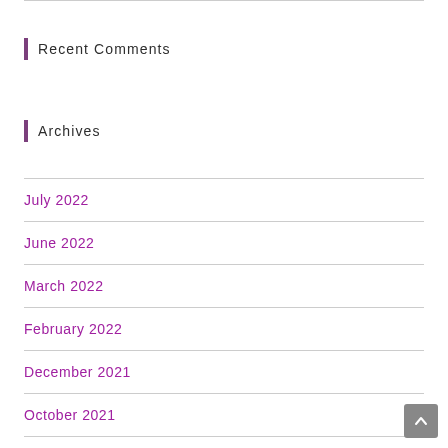Recent Comments
Archives
July 2022
June 2022
March 2022
February 2022
December 2021
October 2021
July 2021
May 2021
April 2021